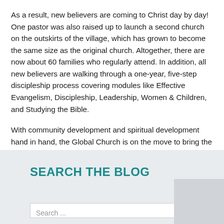As a result, new believers are coming to Christ day by day! One pastor was also raised up to launch a second church on the outskirts of the village, which has grown to become the same size as the original church. Altogether, there are now about 60 families who regularly attend. In addition, all new believers are walking through a one-year, five-step discipleship process covering modules like Effective Evangelism, Discipleship, Leadership, Women & Children, and Studying the Bible.
With community development and spiritual development hand in hand, the Global Church is on the move to bring the gospel to the ends of the earth. Thanks to your support of Mission ONE and partners in Nepal, the Cave People are thriving and growing in their knowledge of the Lord. Praise God!
SEARCH THE BLOG